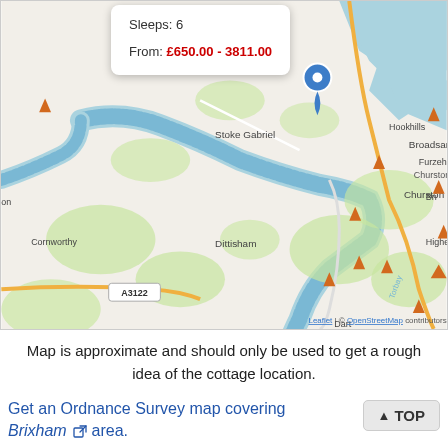[Figure (map): OpenStreetMap showing area around Stoke Gabriel, Dittisham, Churston Ferrers, Broadsands, Cornworthy with River Dart visible. A blue location pin is placed near Hookhills/Broadsands area. A popup shows 'Sleeps: 6' and 'From: £650.00 - 3811.00'. Map attribution: Leaflet | © OpenStreetMap contributors. Road A3122 visible bottom left.]
Map is approximate and should only be used to get a rough idea of the cottage location.
Get an Ordnance Survey map covering Brixham area.